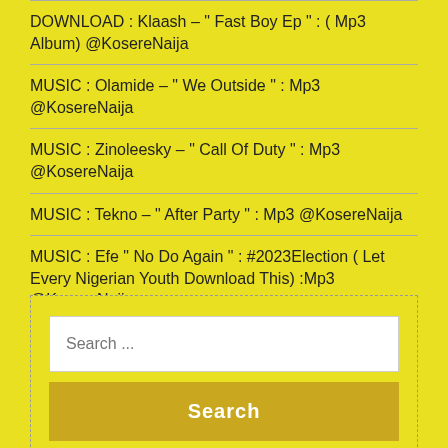DOWNLOAD : Klaash – " Fast Boy Ep " : ( Mp3 Album) @KosereNaija
MUSIC : Olamide – " We Outside " : Mp3 @KosereNaija
MUSIC : Zinoleesky – " Call Of Duty " : Mp3 @KosereNaija
MUSIC : Tekno – " After Party " : Mp3 @KosereNaija
MUSIC : Efe " No Do Again " : #2023Election ( Let Every Nigerian Youth Download This) :Mp3 @KosereNaija
Search ...